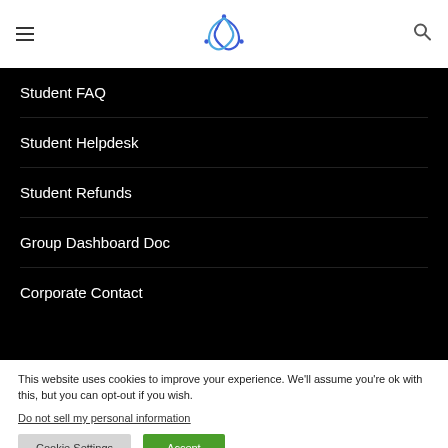[Logo] [Hamburger menu] [Search icon]
Student FAQ
Student Helpdesk
Student Refunds
Group Dashboard Doc
Corporate Contact
This website uses cookies to improve your experience. We'll assume you're ok with this, but you can opt-out if you wish.
Do not sell my personal information
Cookie Settings | Accept